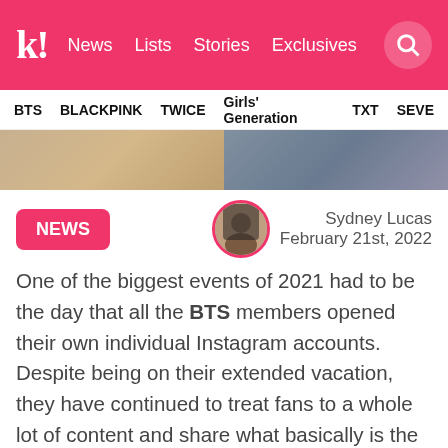k! News | Lists | Stories | Exclusives
BTS | BLACKPINK | TWICE | Girls' Generation | TXT | SEVE
[Figure (photo): Hero image strip showing two cropped photos side by side]
NEWS
Sydney Lucas
February 21st, 2022
One of the biggest events of 2021 had to be the day that all the BTS members opened their own individual Instagram accounts. Despite being on their extended vacation, they have continued to treat fans to a whole lot of content and share what basically is the BTS's group chat!
[Figure (photo): Bottom photo showing BTS members at an event with dark curtain backdrop]